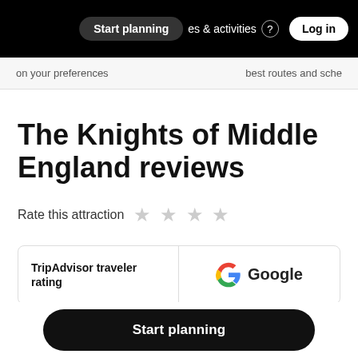Start planning | es & activities | Log in
on your preferences        best routes and sche
The Knights of Middle England reviews
Rate this attraction ☆ ☆ ☆ ☆
| TripAdvisor traveler rating | Google |
| --- | --- |
Start planning